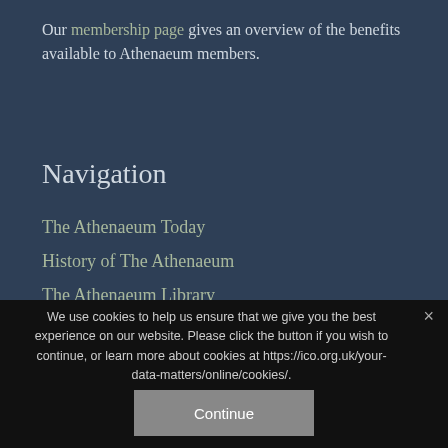Our membership page gives an overview of the benefits available to Athenaeum members.
Navigation
The Athenaeum Today
History of The Athenaeum
The Athenaeum Library
Social Programme
We use cookies to help us ensure that we give you the best experience on our website. Please click the button if you wish to continue, or learn more about cookies at https://ico.org.uk/your-data-matters/online/cookies/.
Continue